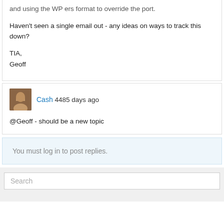and using the WP ers format to override the port.
Haven't seen a single email out - any ideas on ways to track this down?
TIA,
Geoff
Cash 4485 days ago
@Geoff - should be a new topic
You must log in to post replies.
Search